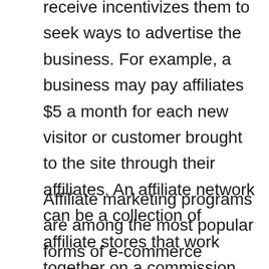receive incentivizes them to seek ways to advertise the business. For example, a business may pay affiliates $5 a month for each new visitor or customer brought to the site through their affiliates. An affiliate network can be a collection of affiliate stores that work together on a commission structure. These networks can bring a wide range of merchants to a site through a central hub.
Affiliate marketing programs are among the most popular forms of e-commerce revenue generators today. E-commerce is simply, selling products online. This is